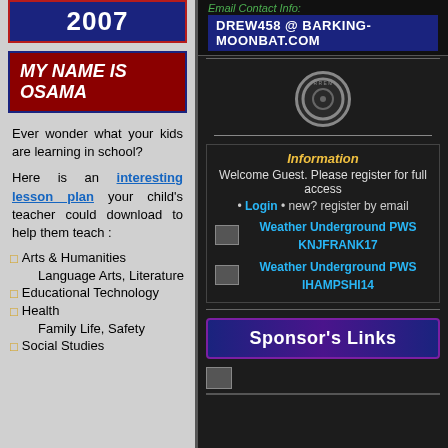2007
MY NAME IS OSAMA
Ever wonder what your kids are learning in school?
Here is an interesting lesson plan your child's teacher could download to help them teach :
Arts & Humanities
Language Arts, Literature
Educational Technology
Health
Family Life, Safety
Social Studies
Email Contact Info:
DREW458 @ BARKING-MOONBAT.COM
Information
Welcome Guest. Please register for full access
• Login • new? register by email
Weather Underground PWS KNJFRANK17
Weather Underground PWS IHAMPSHI14
Sponsor's Links